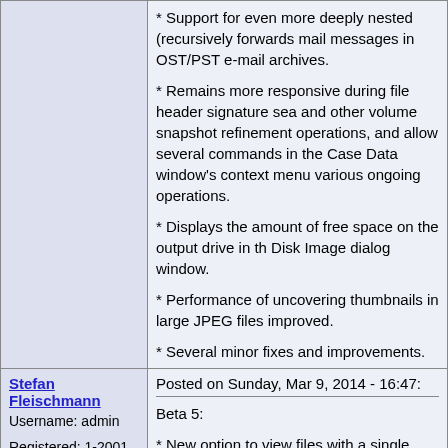| User | Post Content |
| --- | --- |
|  | * Support for even more deeply nested (recursively forwards... mail messages in OST/PST e-mail archives.
* Remains more responsive during file header signature sea... and other volume snapshot refinement operations, and allow... several commands in the Case Data window's context menu... various ongoing operations.
* Displays the amount of free space on the output drive in th... Disk Image dialog window.
* Performance of uncovering thumbnails in large JPEG files ... improved.
* Several minor fixes and improvements. |
| Stefan Fleischmann
Username: admin
Registered: 1-2001 | Posted on Sunday, Mar 9, 2014 - 16:47:
Beta 5:
* New option to view files with a single click in the gallery ins... with a double click. Useful for example if you wish to view ce... pictures on a separate monitor, where you do not have to clo... view window to see the gallery again, when not viewing all p... one after the other (for which the Page Up or Dn key is more... efficient).
* Some fixes. |
| Stefan Fleischmann | Posted on Thursday, Mar 13, 2014 - 22:21:
Beta 6: |